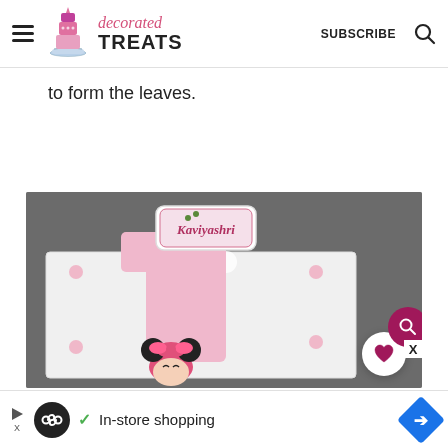decorated TREATS | SUBSCRIBE
to form the leaves.
[Figure (photo): A pink number-one shaped birthday cake decorated with Minnie Mouse, white polka dots, and a name plaque reading 'Kaviyashri', set on a white cake board against a dark grey background.]
In-store shopping